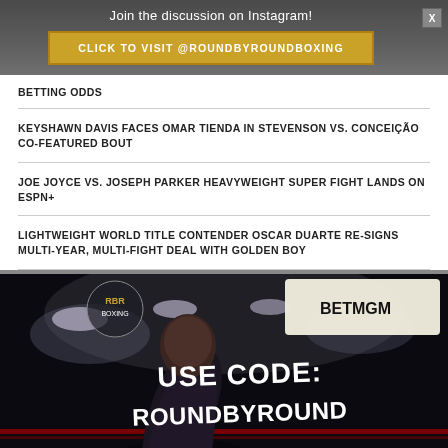Join the discussion on Instagram!
CLICK TO VISIT @ROUNDBYROUNDBOXING
BETTING ODDS
KEYSHAWN DAVIS FACES OMAR TIENDA IN STEVENSON VS. CONCEIÇÃO CO-FEATURED BOUT
JOE JOYCE VS. JOSEPH PARKER HEAVYWEIGHT SUPER FIGHT LANDS ON ESPN+
LIGHTWEIGHT WORLD TITLE CONTENDER OSCAR DUARTE RE-SIGNS MULTI-YEAR, MULTI-FIGHT DEAL WITH GOLDEN BOY
[Figure (photo): BetMGM advertisement featuring a boxer in the ring. Text reads: USE CODE: ROUNDBYROUND. RBR Boxing logo in top left. BetMGM logo in top right.]